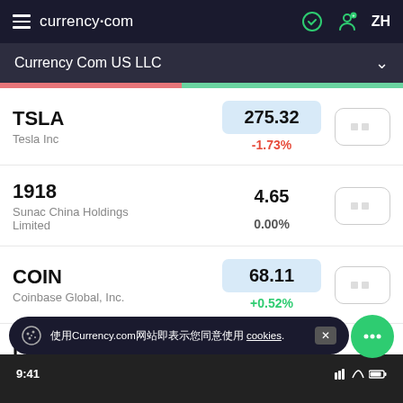currency.com  ZH
Currency Com US LLC
TSLA Tesla Inc  275.32  -1.73%
1918 Sunac China Holdings Limited  4.65  0.00%
COIN Coinbase Global, Inc.  68.11  +0.52%
FIS
使用Currency.com网站即表示您同意使用 cookies.